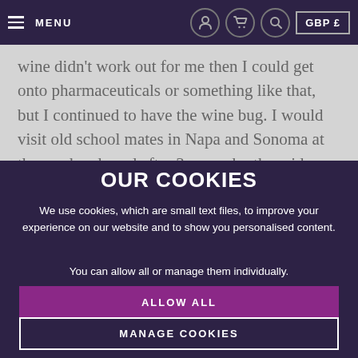MENU | GBP £
wine didn't work out for me then I could get onto pharmaceuticals or something like that, but I continued to have the wine bug. I would visit old school mates in Napa and Sonoma at the weekends and after 3 years, by the mid
OUR COOKIES
We use cookies, which are small text files, to improve your experience on our website and to show you personalised content.

You can allow all or manage them individually.
ALLOW ALL
MANAGE COOKIES